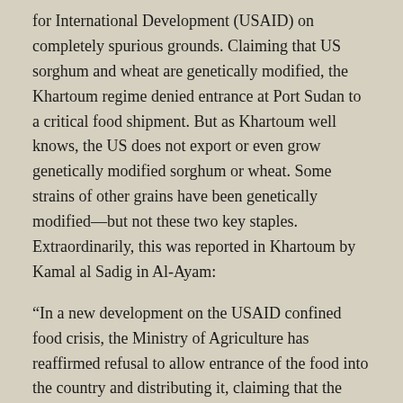for International Development (USAID) on completely spurious grounds. Claiming that US sorghum and wheat are genetically modified, the Khartoum regime denied entrance at Port Sudan to a critical food shipment. But as Khartoum well knows, the US does not export or even grow genetically modified sorghum or wheat. Some strains of other grains have been genetically modified—but not these two key staples. Extraordinarily, this was reported in Khartoum by Kamal al Sadig in Al-Ayam:
“In a new development on the USAID confined food crisis, the Ministry of Agriculture has reaffirmed refusal to allow entrance of the food into the country and distributing it, claiming that the food is genetically modified. The new excuse was announced yesterday in a meeting held for all concerned bodies.” (Al-Ayam, November 16, 2003; issue no 7825)
It is this same Al-Ayam account that we see the